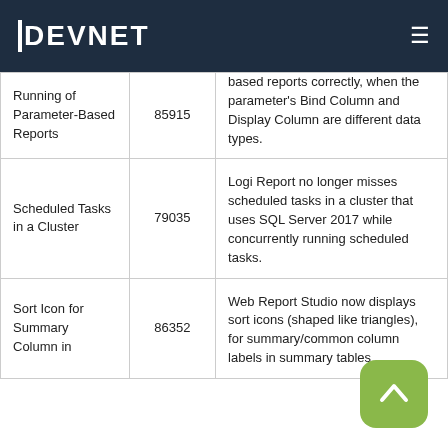DEVNET
| Feature | ID | Description |
| --- | --- | --- |
| Running of Parameter-Based Reports | 85915 | ...based reports correctly, when the parameter's Bind Column and Display Column are different data types. |
| Scheduled Tasks in a Cluster | 79035 | Logi Report no longer misses scheduled tasks in a cluster that uses SQL Server 2017 while concurrently running scheduled tasks. |
| Sort Icon for Summary Column in | 86352 | Web Report Studio now displays sort icons (shaped like triangles), for summary/common column labels in summary tables... |